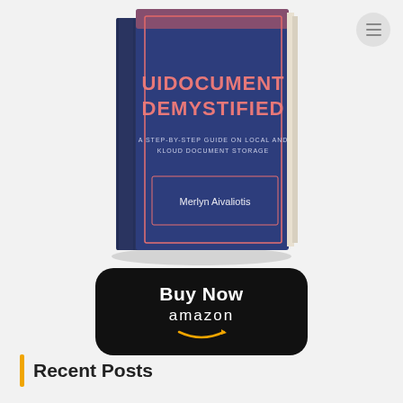[Figure (illustration): Book cover of 'UIDOCUMENT DEMYSTIFIED - A Step-by-Step Guide on Local and Cloud Document Storage' by Merlyn Aivaliotis, shown as a 3D book standing upright with a dark navy blue cover and coral/salmon colored title text.]
[Figure (illustration): Black rounded rectangle button with 'Buy Now' in white bold text and 'amazon' logo in white with orange smile arrow underneath, linking to Amazon purchase.]
Recent Posts